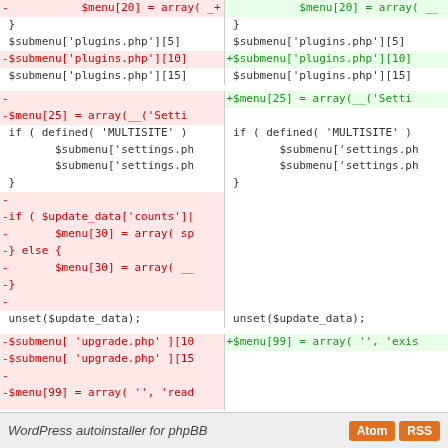[Figure (screenshot): A side-by-side diff view of PHP code showing removed lines (red, left) and added lines (green, right). The diff shows changes to WordPress menu/submenu array assignments, update_data logic removal, and require_once statements. Bottom bar shows 'WordPress autoinstaller for phpBB' with Atom and RSS buttons.]